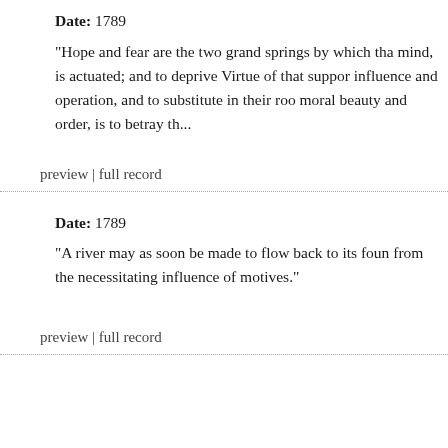Date: 1789
"Hope and fear are the two grand springs by which tha mind, is actuated; and to deprive Virtue of that suppor influence and operation, and to substitute in their roo moral beauty and order, is to betray th...
preview | full record
Date: 1789
"A river may as soon be made to flow back to its foun from the necessitating influence of motives."
preview | full record